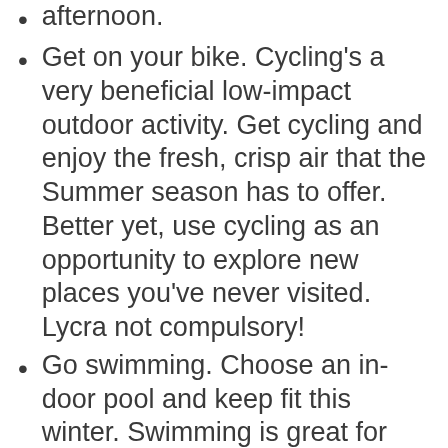afternoon.
Get on your bike. Cycling’s a very beneficial low-impact outdoor activity. Get cycling and enjoy the fresh, crisp air that the Summer season has to offer. Better yet, use cycling as an opportunity to explore new places you’ve never visited. Lycra not compulsory!
Go swimming. Choose an in-door pool and keep fit this winter. Swimming is great for the cardiovascular system, strengthening muscles and improving joint flexibility.
Try paddle sports. Getting out on a dam or beach, is brilliant for body and soul. A powerful upper body exercise, canoeing and kayaking take you closer to nature